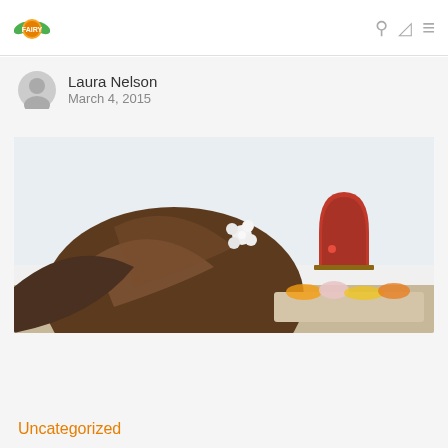[Figure (logo): Fairy-themed logo with green leaves and orange/gold emblem]
Laura Nelson
March 4, 2015
[Figure (photo): A young girl with brown hair and a white flower hair clip, looking at a small red fairy door mounted near the baseboard of a white wall, with a tray of items in front of her]
Uncategorized